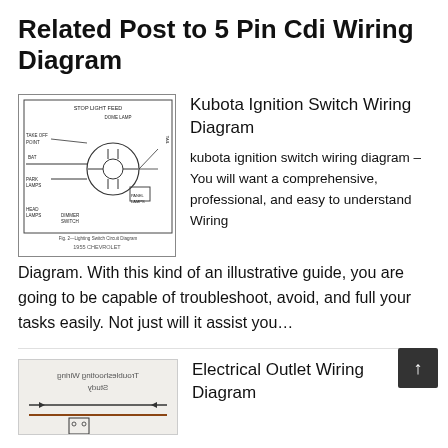Related Post to 5 Pin Cdi Wiring Diagram
[Figure (schematic): Kubota / Chevrolet lighting switch circuit diagram showing stop light feed, dome lamp, tail lamps, take off point, battery, park lamps, head lamps, dimmer switch, and panel lamps connections. Caption reads: Fig. 2—Lighting Switch Circuit Diagram, 1955 Chevrolet]
Kubota Ignition Switch Wiring Diagram
kubota ignition switch wiring diagram – You will want a comprehensive, professional, and easy to understand Wiring Diagram. With this kind of an illustrative guide, you are going to be capable of troubleshoot, avoid, and full your tasks easily. Not just will it assist you…
[Figure (schematic): Electrical outlet wiring diagram image (partially visible, appears mirrored/reversed), showing wiring connections]
Electrical Outlet Wiring Diagram